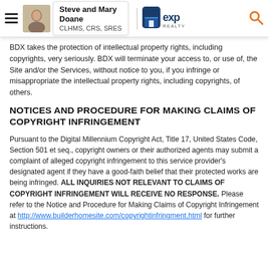Steve and Mary Doane | CLHMS, CRS, SRES | exp REALTY
BDX takes the protection of intellectual property rights, including copyrights, very seriously. BDX will terminate your access to, or use of, the Site and/or the Services, without notice to you, if you infringe or misappropriate the intellectual property rights, including copyrights, of others.
NOTICES AND PROCEDURE FOR MAKING CLAIMS OF COPYRIGHT INFRINGEMENT
Pursuant to the Digital Millennium Copyright Act, Title 17, United States Code, Section 501 et seq., copyright owners or their authorized agents may submit a complaint of alleged copyright infringement to this service provider's designated agent if they have a good-faith belief that their protected works are being infringed. ALL INQUIRIES NOT RELEVANT TO CLAIMS OF COPYRIGHT INFRINGEMENT WILL RECEIVE NO RESPONSE. Please refer to the Notice and Procedure for Making Claims of Copyright Infringement at http://www.builderhomesite.com/copyrightinfringment.html for further instructions.